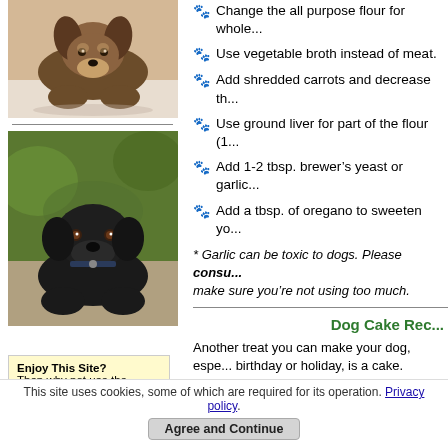[Figure (photo): German Shepherd puppy lying down, looking at camera]
[Figure (photo): Black Labrador dog resting on a surface outdoors with green grass background]
Change the all purpose flour for whole...
Use vegetable broth instead of meat.
Add shredded carrots and decrease th...
Use ground liver for part of the flour (1...
Add 1-2 tbsp. brewer’s yeast or garlic...
Add a tbsp. of oregano to sweeten yo...
* Garlic can be toxic to dogs. Please consu... make sure you’re not using too much.
Dog Cake Rec...
Another treat you can make your dog, espe... birthday or holiday, is a cake.
Compared to most dogs' daily diets, a spec... leave him or her wagging for more. As with... most of the ingredients you need are alread... become expensive.
Enjoy This Site?
Then why not use the...
This site uses cookies, some of which are required for its operation. Privacy policy. Agree and Continue